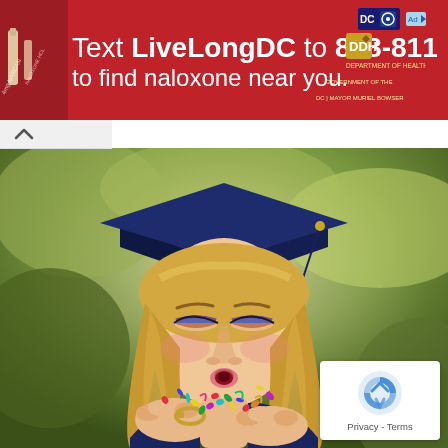[Figure (infographic): Red banner advertisement: Text LiveLongDC to 888-811 to find naloxone near you, with DC government logos on the right and a medicine/naloxone photo on the left]
[Figure (photo): Young woman in blue graduation cap and gown blowing colorful confetti from her hands, photographed outdoors with blurred green background]